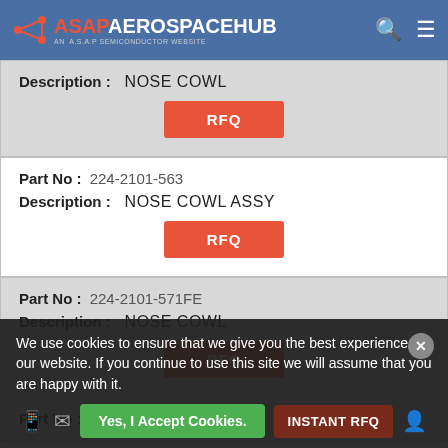ASAPAEROSPACEHUB — AN A.S.A.P SEMICONDUCTOR WEBSITE
Description: NOSE COWL
RFQ
Part No: 224-2101-563
Description: NOSE COWL ASSY
RFQ
Part No: 224-2101-571FE
Description: NOSE COWL
RFQ
Part No: 224-2101-...
We use cookies to ensure that we give you the best experience on our website. If you continue to use this site we will assume that you are happy with it.
Yes, I Accept Cookies.
INSTANT RFQ